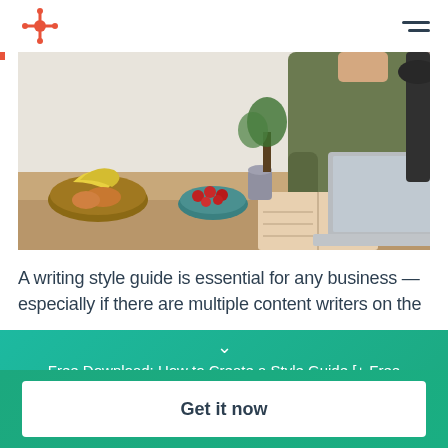HubSpot logo and navigation menu
[Figure (photo): Person sitting at a wooden desk writing in a notebook with a laptop open, fruit basket with bananas and apples, bowl of raspberries, and desk lamp in background. Home office setting.]
A writing style guide is essential for any business — especially if there are multiple content writers on the
Free Download: How to Create a Style Guide [+ Free Templates]
Get it now